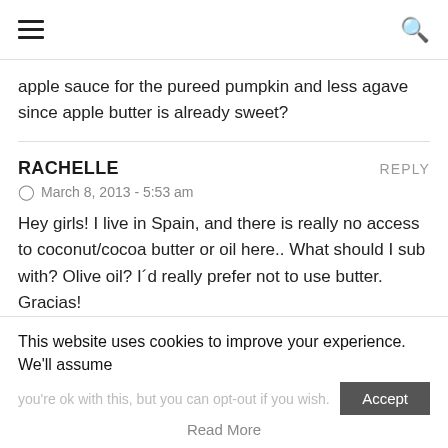≡ [hamburger menu] [search icon]
apple sauce for the pureed pumpkin and less agave since apple butter is already sweet?
RACHELLE   REPLY
⊙ March 8, 2013 - 5:53 am
Hey girls! I live in Spain, and there is really no access to coconut/cocoa butter or oil here.. What should I sub with? Olive oil? I´d really prefer not to use butter.
Gracias!
This website uses cookies to improve your experience. We'll assume you're ok with this, but you can opt-out if you wish.
Accept
Read More